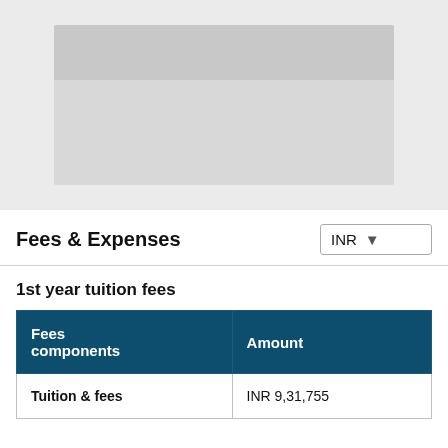[Figure (screenshot): Blurred/redacted image placeholder area in light grey, representing a screenshot or image that has been obscured.]
Fees & Expenses
1st year tuition fees
| Fees components | Amount |
| --- | --- |
| Tuition & fees | INR 9,31,755 |